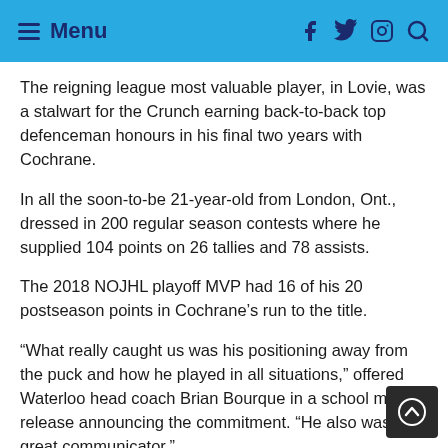Menu
The reigning league most valuable player, in Lovie, was a stalwart for the Crunch earning back-to-back top defenceman honours in his final two years with Cochrane.
In all the soon-to-be 21-year-old from London, Ont., dressed in 200 regular season contests where he supplied 104 points on 26 tallies and 78 assists.
The 2018 NOJHL playoff MVP had 16 of his 20 postseason points in Cochrane’s run to the title.
“What really caught us was his positioning away from the puck and how he played in all situations,” offered Waterloo head coach Brian Bourque in a school media release announcing the commitment. “He also was a great communicator.”